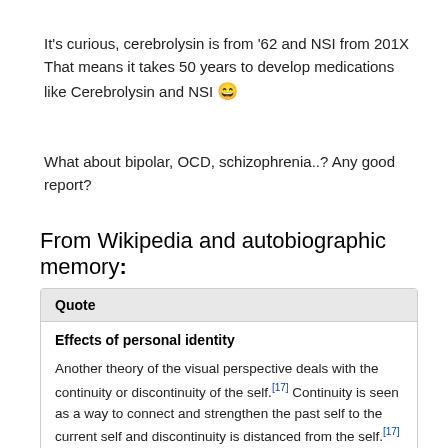It's curious, cerebrolysin is from '62 and NSI from 201X That means it takes 50 years to develop medications like Cerebrolysin and NSI 😄
What about bipolar, OCD, schizophrenia..? Any good report?
From Wikipedia and autobiographic memory:
Quote
Effects of personal identity
Another theory of the visual perspective deals with the continuity or discontinuity of the self.[17] Continuity is seen as a way to connect and strengthen the past self to the current self and discontinuity is distanced from the self.[17] This theory breaks down the observer method (i.e.